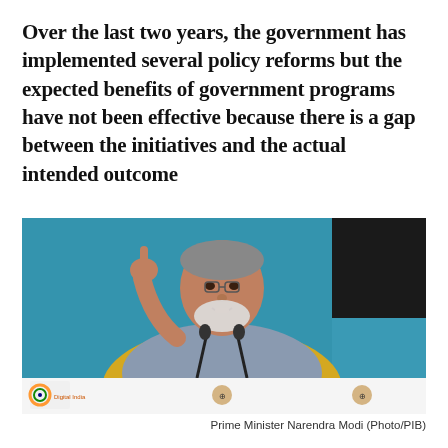Over the last two years, the government has implemented several policy reforms but the expected benefits of government programs have not been effective because there is a gap between the initiatives and the actual intended outcome
[Figure (photo): Prime Minister Narendra Modi gesturing with one finger raised while speaking at a podium with microphones, wearing a yellow kurta and grey nehru jacket, against a teal blue background with a dark section on the right. A Digital India banner is visible at the bottom along with government emblems.]
Prime Minister Narendra Modi (Photo/PIB)